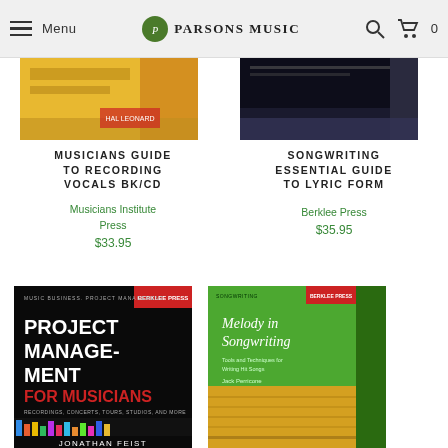Menu | Parsons Music | Search | Cart 0
[Figure (photo): Book cover - Musicians Guide to Recording Vocals BK/CD (partial top view, yellow/orange cover)]
MUSICIANS GUIDE TO RECORDING VOCALS BK/CD
Musicians Institute Press
$33.95
[Figure (photo): Book cover - Songwriting Essential Guide to Lyric Form (partial top view, dark cover)]
SONGWRITING ESSENTIAL GUIDE TO LYRIC FORM
Berklee Press
$35.95
[Figure (photo): Book cover - Project Management for Musicians by Jonathan Feist, Berklee Press, black cover with colorful music bars]
[Figure (photo): Book cover - Melody in Songwriting, Berklee Guide, green and yellow cover]